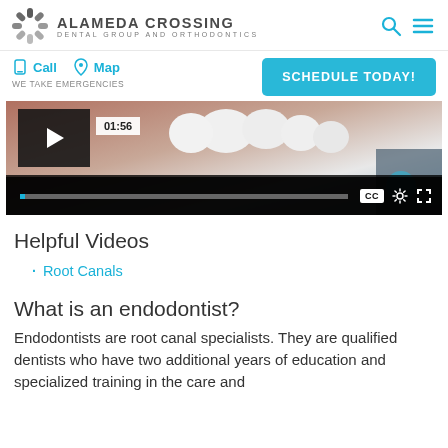ALAMEDA CROSSING DENTAL GROUP AND ORTHODONTICS
Call   Map   WE TAKE EMERGENCIES   SCHEDULE TODAY!
[Figure (screenshot): Video player showing dental/teeth content with controls: play button, timestamp 01:56, progress bar, CC, settings gear, and fullscreen icons]
Helpful Videos
Root Canals
What is an endodontist?
Endodontists are root canal specialists. They are qualified dentists who have two additional years of education and specialized training in the care and